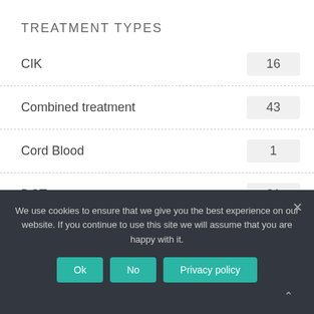TREATMENT TYPES
CIK  16
Combined treatment  43
Cord Blood  1
DCT  81
Nanothermia  18
GLOBAL INSIGHTS  16
We use cookies to ensure that we give you the best experience on our website. If you continue to use this site we will assume that you are happy with it.